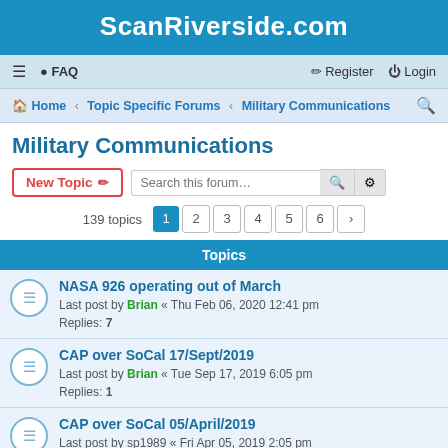ScanRiverside.com
≡  FAQ  Register  Login
Home · Topic Specific Forums · Military Communications
Military Communications
New Topic  Search this forum…
139 topics  1 2 3 4 5 6 >
Topics
NASA 926 operating out of March
Last post by Brian « Thu Feb 06, 2020 12:41 pm
Replies: 7
CAP over SoCal 17/Sept/2019
Last post by Brian « Tue Sep 17, 2019 6:05 pm
Replies: 1
CAP over SoCal 05/April/2019
Last post by sp1989 « Fri Apr 05, 2019 2:05 pm
New Years B-2 flyover
Last post by sp1989 « Tue Jan 01, 2019 1:29 pm
POTUS coming to SoCal this Saturday 11/17/2018